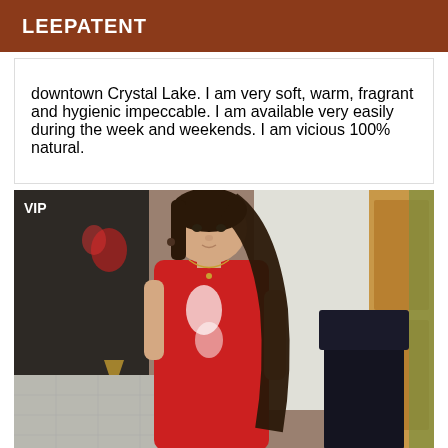LEEPATENT
downtown Crystal Lake. I am very soft, warm, fragrant and hygienic impeccable. I am available very easily during the week and weekends. I am vicious 100% natural.
[Figure (photo): Young woman with long dark hair wearing a red sleeveless dress, posing indoors with a white wall and wood-paneled door visible behind her. A VIP badge appears in the upper left corner of the photo.]